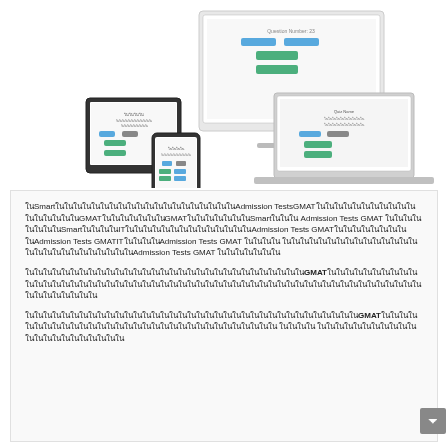[Figure (illustration): Multiple devices (desktop monitor, laptop, tablet, smartphone) showing a GMAT/Admission Tests practice exam interface with green and blue buttons]
ในSmart ในในในในในในในในในในในในในในในในในในในในAdmission Tests GMAT ในในในในในในในในในในในในในในในในในGMAT ในในในในในในในGMAT ในในในในในในในSmartในในใน Admission Tests GMAT ในในในในในในในในSmartในในในในIT ในในในในในในในในในในในในใน Admission Tests GMAT ในในในในในในในในในAdmission Tests GMAT ในIT ในในในในAdmission Tests GMAT ในในในใน ในในในในในในในในในในในในในในในในในในในในในในในในในในในAdmission Tests GMAT ในในในในในใน
ในในในในในในในในในในในในในในในในในในในในในในในในในในในในในในในGMAT ในในในในในในในในในในในในในในในในในในในในในในในในในในในในในในในในในในในในในในในในในในในในในในในในในในในในในในในในในในในในใน
ในในในในในในในในในในในในในในในในในในในในในในในในในในในในในในในในในในในในในGMAT ในในในในในในในในในในในในในในในในในในในในในในในในในในในในในในใน ในในในใน ในในในในในในในในในในในในในในในในในในในในใน